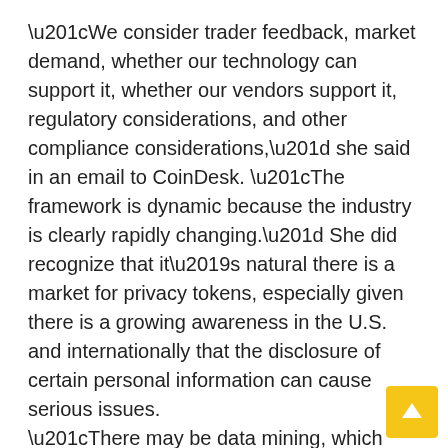“We consider trader feedback, market demand, whether our technology can support it, whether our vendors support it, regulatory considerations, and other compliance considerations,” she said in an email to CoinDesk. “The framework is dynamic because the industry is clearly rapidly changing.” She did recognize that it’s natural there is a market for privacy tokens, especially given there is a growing awareness in the U.S. and internationally that the disclosure of certain personal information can cause serious issues.
“There may be data mining, which can cause minor inconveniences if their information is sold,” she said. “However, it could also be sold to advertising agencies and other entities without consent, causing significant friction in digital operations. Worse, it may also be used for malicious purposes such as hacking, identity theft, blackmail and other harmful